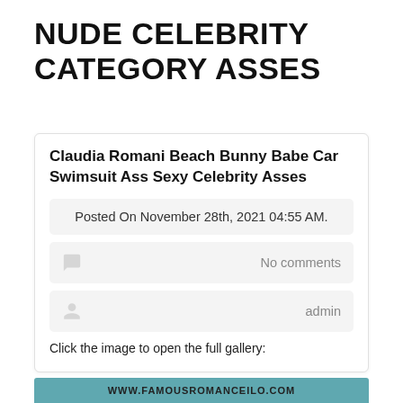NUDE CELEBRITY CATEGORY ASSES
Claudia Romani Beach Bunny Babe Car Swimsuit Ass Sexy Celebrity Asses
Posted On November 28th, 2021 04:55 AM.
No comments
admin
Click the image to open the full gallery:
[Figure (screenshot): Teal/blue colored gallery bar with website URL text at bottom]